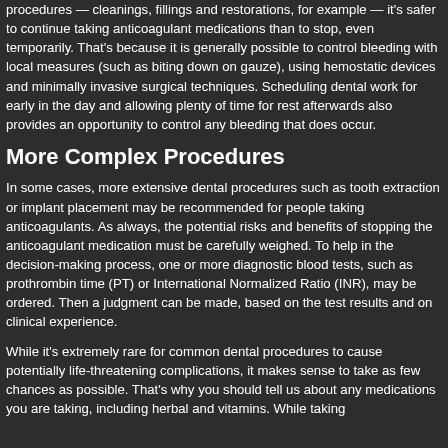procedures — cleanings, fillings and restorations, for example — it's safer to continue taking anticoagulant medications than to stop, even temporarily. That's because it is generally possible to control bleeding with local measures (such as biting down on gauze), using hemostatic devices and minimally invasive surgical techniques. Scheduling dental work for early in the day and allowing plenty of time for rest afterwards also provides an opportunity to control any bleeding that does occur.
More Complex Procedures
In some cases, more extensive dental procedures such as tooth extraction or implant placement may be recommended for people taking anticoagulants. As always, the potential risks and benefits of stopping the anticoagulant medication must be carefully weighed. To help in the decision-making process, one or more diagnostic blood tests, such as prothrombin time (PT) or International Normalized Ratio (INR), may be ordered. Then a judgment can be made, based on the test results and on clinical experience.
While it's extremely rare for common dental procedures to cause potentially life-threatening complications, it makes sense to take as few chances as possible. That's why you should tell us about any medications you are taking, including herbal and vitamins. While taking...